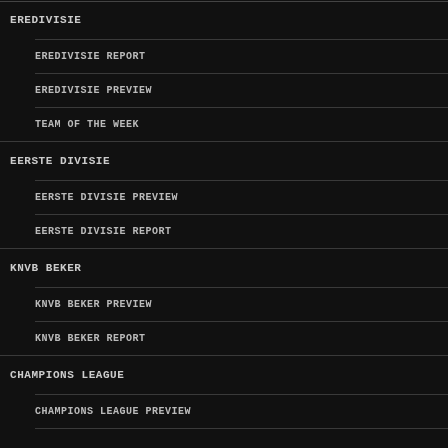EREDIVISIE
EREDIVISIE REPORT
EREDIVISIE PREVIEW
TEAM OF THE WEEK
EERSTE DIVISIE
EERSTE DIVISIE PREVIEW
EERSTE DIVISIE REPORT
KNVB BEKER
KNVB BEKER PREVIEW
KNVB BEKER REPORT
CHAMPIONS LEAGUE
CHAMPIONS LEAGUE PREVIEW